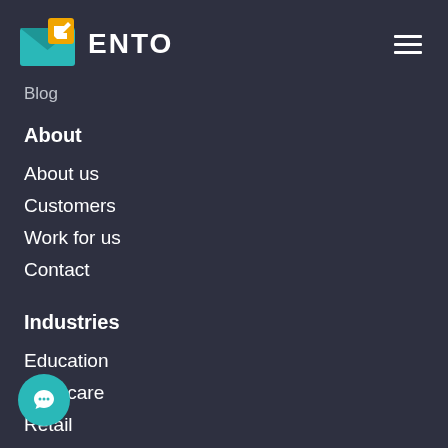[Figure (logo): ENTO logo with teal envelope icon and yellow arrow, brand name ENTO in white bold letters]
Blog
About
About us
Customers
Work for us
Contact
Industries
Education
Childcare
Retail